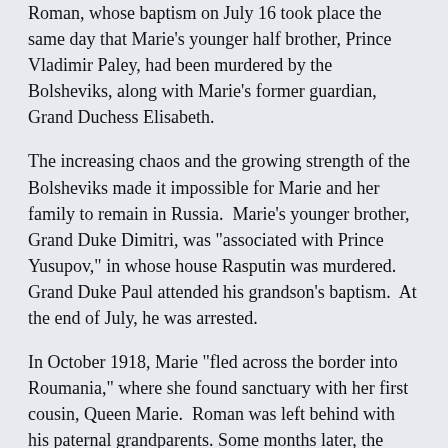Roman, whose baptism on July 16 took place the same day that Marie's younger half brother, Prince Vladimir Paley, had been murdered by the Bolsheviks, along with Marie's former guardian, Grand Duchess Elisabeth.
The increasing chaos and the growing strength of the Bolsheviks made it impossible for Marie and her family to remain in Russia. Marie's younger brother, Grand Duke Dimitri, was "associated with Prince Yusupov," in whose house Rasputin was murdered. Grand Duke Paul attended his grandson's baptism. At the end of July, he was arrested.
In October 1918, Marie "fled across the border into Roumania," where she found sanctuary with her first cousin, Queen Marie. Roman was left behind with his paternal grandparents. Some months later, the Grand Duchess received word that the infant died from an intestinal order. Her married to Prince Poutian ended in divorce in 1923.
Marie was "warmly welcomed" to the United States in 1926 largely due to her "her royal descent, her connections with the events that had shaken Russia in 1917-18." She returned to America in the 1930s, where she "gained more prominence" with